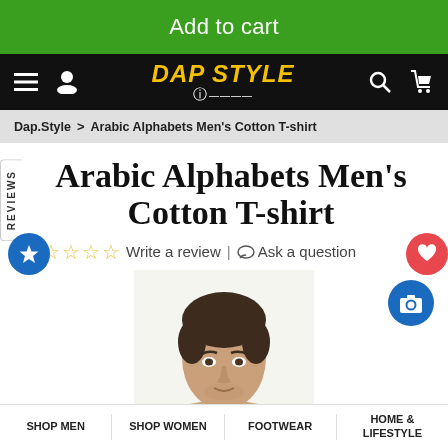Add to cart
DAP STYLE
Dap.Style > Arabic Alphabets Men's Cotton T-shirt
Arabic Alphabets Men's Cotton T-shirt
☆ ☆ ☆ ☆ ☆  Write a review | Ask a question
[Figure (photo): Man's face/head photo for product listing]
SHOP MEN  SHOP WOMEN  FOOTWEAR  HOME & LIFESTYLE